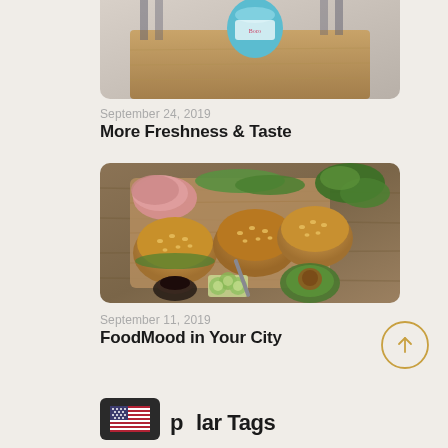[Figure (photo): Partial top image of a restaurant/cafe scene with a teal cup on a wooden table]
September 24, 2019
More Freshness & Taste
[Figure (photo): Overhead shot of sesame bun burgers/sandwiches on a wooden board with avocado, cucumber, sliced ham, and a small bowl of sauce]
September 11, 2019
FoodMood in Your City
Popular Tags